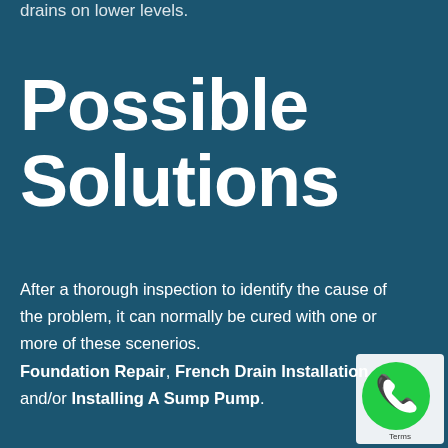drains on lower levels.
Possible Solutions
After a thorough inspection to identify the cause of the problem, it can normally be cured with one or more of these scenerios. Foundation Repair, French Drain Installation and/or Installing A Sump Pump.
[Figure (logo): Green phone icon badge with white handset symbol and Terms label]